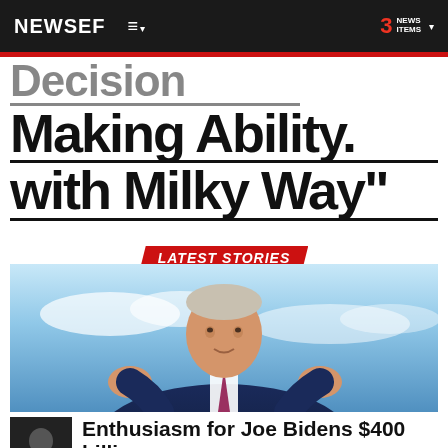NEWSEF — 3 NEWS ITEMS
Decision Making Ability with Milky Way"
LATEST STORIES
[Figure (photo): Photo of Joe Biden speaking at a podium with blue sky background, gesturing with both hands]
Enthusiasm for Joe Bidens $400 billion clean energy plan